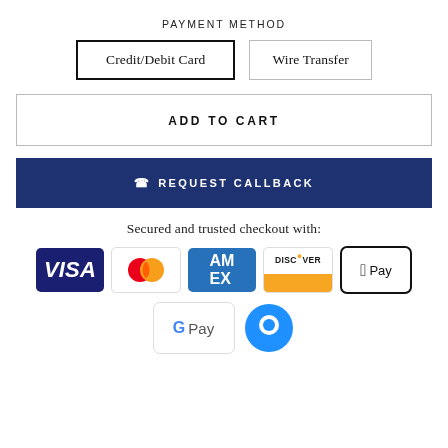PAYMENT METHOD
Credit/Debit Card | Wire Transfer
ADD TO CART
REQUEST CALLBACK
Secured and trusted checkout with:
[Figure (logo): Payment method logos: Visa, Mastercard, American Express, Discover, Apple Pay, Google Pay, and a chat icon]